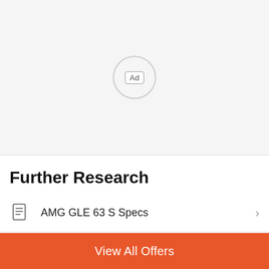[Figure (other): Ad placeholder area with a circular badge containing the text 'Ad' inside a rounded rectangle]
Further Research
AMG GLE 63 S Specs
AMG GLE 63 S Images
View All Offers